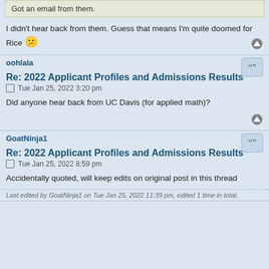Got an email from them.
I didn't hear back from them. Guess that means I'm quite doomed for Rice 😕
oohlala
Re: 2022 Applicant Profiles and Admissions Results
Tue Jan 25, 2022 3:20 pm
Did anyone hear back from UC Davis (for applied math)?
GoatNinja1
Re: 2022 Applicant Profiles and Admissions Results
Tue Jan 25, 2022 8:59 pm
Accidentally quoted, will keep edits on original post in this thread
Last edited by GoatNinja1 on Tue Jan 25, 2022 11:39 pm, edited 1 time in total.